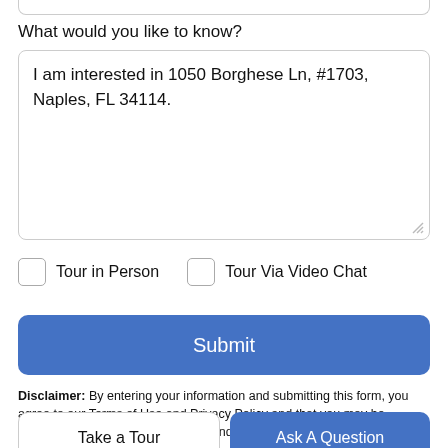What would you like to know?
I am interested in 1050 Borghese Ln, #1703, Naples, FL 34114.
Tour in Person
Tour Via Video Chat
Submit
Disclaimer: By entering your information and submitting this form, you agree to our Terms of Use and Privacy Policy and that you may be contacted by phone, text message and email about your inquiry.
Take a Tour
Ask A Question